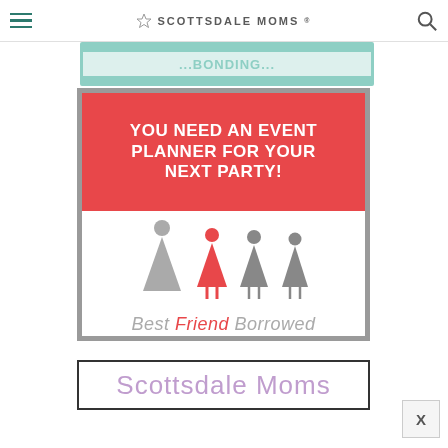SCOTTSDALE MOMS
[Figure (illustration): Partial top banner with teal/mint background showing cut-off text]
[Figure (illustration): Advertisement for Best Friend Borrowed event planning service. Red top section with white bold text: YOU NEED AN EVENT PLANNER FOR YOUR NEXT PARTY! White lower section with four stylized female figures (one in red, three in gray) and cursive text: Best Friend Borrowed]
[Figure (illustration): Partial bottom banner with text: Scottsdale Moms in lavender/purple color]